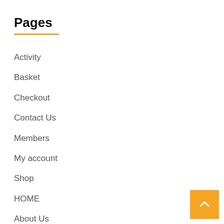Pages
Activity
Basket
Checkout
Contact Us
Members
My account
Shop
HOME
About Us
News Blog
Advertising